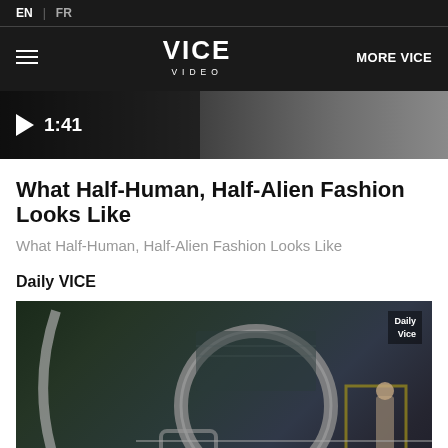EN | FR
[Figure (logo): VICE VIDEO logo in white on black navigation bar with hamburger menu and MORE VICE link]
[Figure (screenshot): Video thumbnail with play button and 1:41 duration overlay, dark cinematic image]
What Half-Human, Half-Alien Fashion Looks Like
What Half-Human, Half-Alien Fashion Looks Like
Daily VICE
[Figure (photo): Interior scene with large circular metal ring structure, a man standing to the right, exhibition or industrial space, Daily VICE watermark in top right corner]